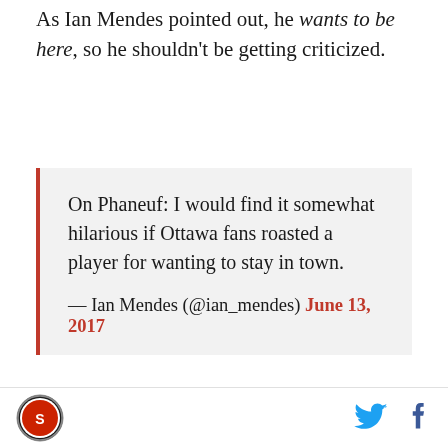As Ian Mendes pointed out, he wants to be here, so he shouldn't be getting criticized.
On Phaneuf: I would find it somewhat hilarious if Ottawa fans roasted a player for wanting to stay in town.
— Ian Mendes (@ian_mendes) June 13, 2017
After all, he has this NMC in his contract for a reason, and it's his right to not waive it. He has only been in Ottawa for a year and a few months, and I'm sure he doesn't want to pack his bags for another city (as slim